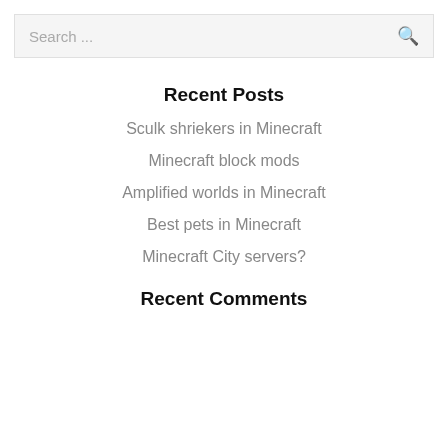Search ...
Recent Posts
Sculk shriekers in Minecraft
Minecraft block mods
Amplified worlds in Minecraft
Best pets in Minecraft
Minecraft City servers?
Recent Comments